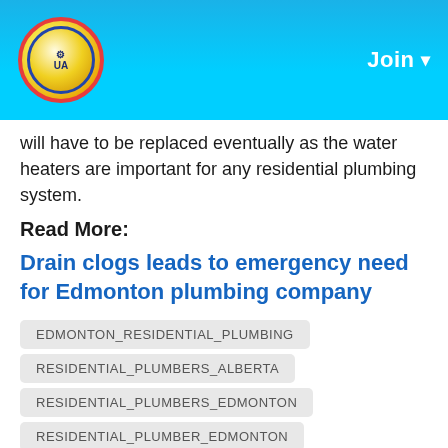Join
will have to be replaced eventually as the water heaters are important for any residential plumbing system.
Read More:
Drain clogs leads to emergency need for Edmonton plumbing company
EDMONTON_RESIDENTIAL_PLUMBING
RESIDENTIAL_PLUMBERS_ALBERTA
RESIDENTIAL_PLUMBERS_EDMONTON
RESIDENTIAL_PLUMBER_EDMONTON
RESIDENTIAL_PLUMBING_EDMONTON
RESIDENTIAL_PLUMBING_SHERWOOD_PARK
RESIDENTIAL_PLUMBER_SHERWOOD_PARK